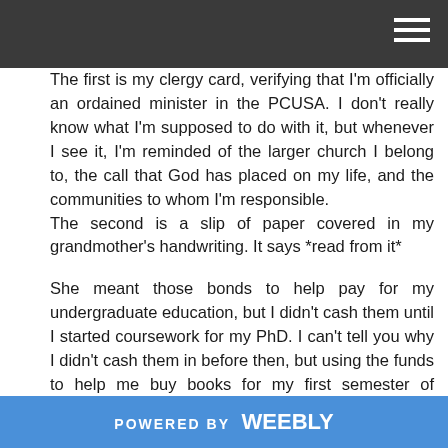The first is my clergy card, verifying that I'm officially an ordained minister in the PCUSA. I don't really know what I'm supposed to do with it, but whenever I see it, I'm reminded of the larger church I belong to, the call that God has placed on my life, and the communities to whom I'm responsible. The second is a slip of paper covered in my grandmother's handwriting. It says *read from it*
She meant those bonds to help pay for my undergraduate education, but I didn't cash them until I started coursework for my PhD. I can't tell you why I didn't cash them in before then, but using the funds to help me buy books for my first semester of coursework made me feel like she was with me.
POWERED BY weebly